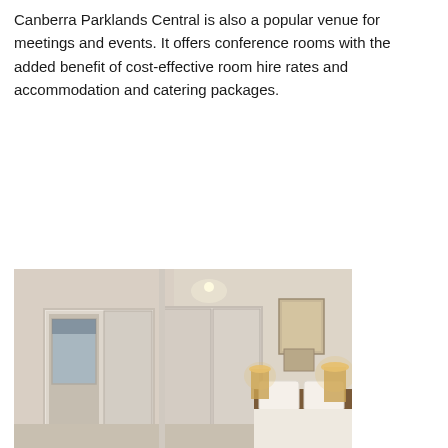Canberra Parklands Central is also a popular venue for meetings and events. It offers conference rooms with the added benefit of cost-effective room hire rates and accommodation and catering packages.
[Figure (photo): Interior photograph of a hotel room showing a mirrored wardrobe, bed with white bedding, warm bedside lighting, and artwork on the walls. The room has a light neutral color scheme with white walls and warm wood tones.]